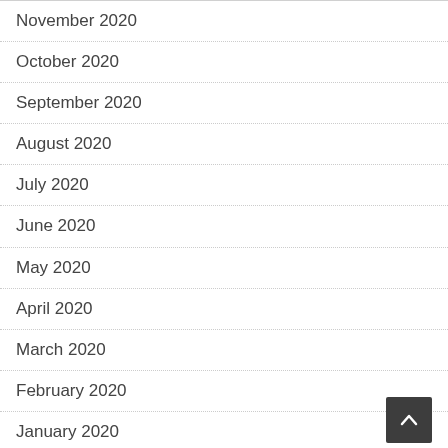November 2020
October 2020
September 2020
August 2020
July 2020
June 2020
May 2020
April 2020
March 2020
February 2020
January 2020
December 2019
August 2019